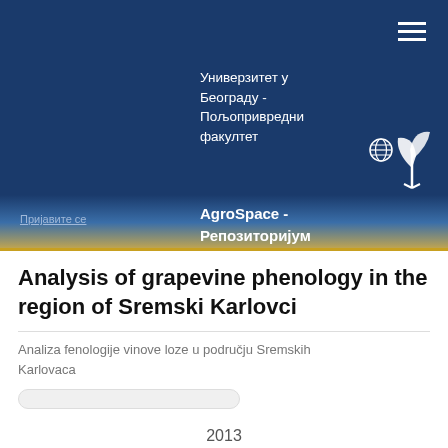Универзитет у Београду - Пољопривредни факултет
AgroSpace - Репозиторијум
Analysis of grapevine phenology in the region of Sremski Karlovci
Analiza fenologije vinove loze u području Sremskih Karlovaca
2013
3251.pdf (151.1Kb)